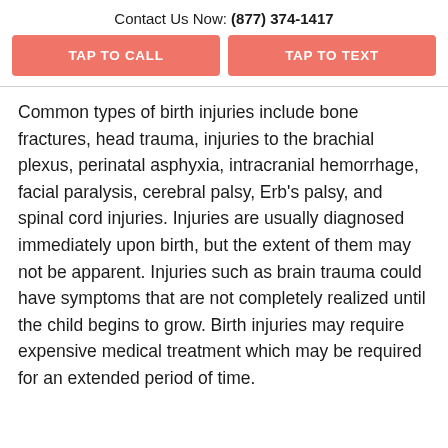Contact Us Now: (877) 374-1417
TAP TO CALL
TAP TO TEXT
Common types of birth injuries include bone fractures, head trauma, injuries to the brachial plexus, perinatal asphyxia, intracranial hemorrhage, facial paralysis, cerebral palsy, Erb's palsy, and spinal cord injuries. Injuries are usually diagnosed immediately upon birth, but the extent of them may not be apparent. Injuries such as brain trauma could have symptoms that are not completely realized until the child begins to grow. Birth injuries may require expensive medical treatment which may be required for an extended period of time.